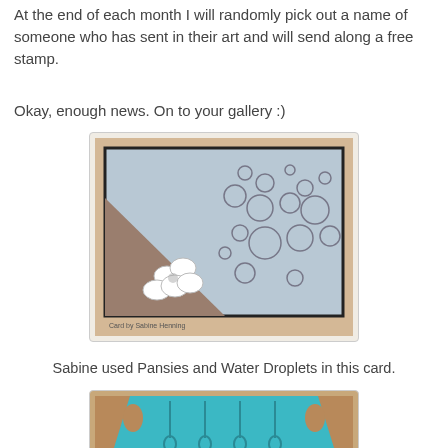At the end of each month I will randomly pick out a name of someone who has sent in their art and will send along a free stamp.
Okay, enough news. On to your gallery :)
[Figure (photo): A handmade card featuring a brown triangular section in the lower-left with white pansy flowers, and a light blue section on the right filled with water droplet stamps. Text reads 'Card by Sabine Henning'.]
Sabine used Pansies and Water Droplets in this card.
[Figure (photo): A teal/turquoise triangular fabric or paper piece with stamped water droplet/teardrop designs, shown against a wooden background.]